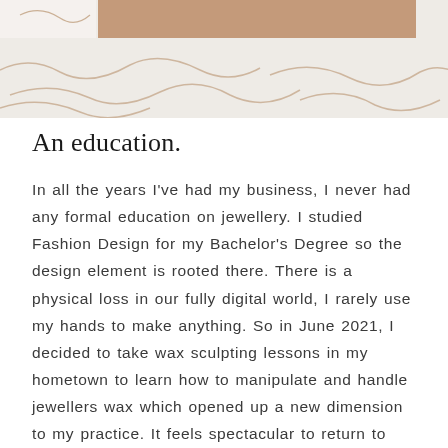[Figure (illustration): Decorative header image with a light beige/grey background featuring abstract organic line drawings. A brown/tan rectangular bar spans across the upper portion of the image.]
An education.
In all the years I've had my business, I never had any formal education on jewellery. I studied Fashion Design for my Bachelor's Degree so the design element is rooted there. There is a physical loss in our fully digital world, I rarely use my hands to make anything. So in June 2021, I decided to take wax sculpting lessons in my hometown to learn how to manipulate and handle jewellers wax which opened up a new dimension to my practice. It feels spectacular to return to sketching, cutting things up, moving them around in real life and ultimately sculpting and creating in an analogue way.